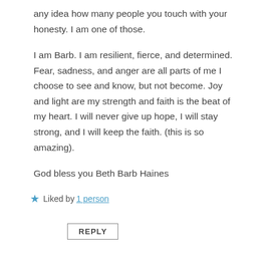any idea how many people you touch with your honesty. I am one of those.
I am Barb. I am resilient, fierce, and determined. Fear, sadness, and anger are all parts of me I choose to see and know, but not become. Joy and light are my strength and faith is the beat of my heart. I will never give up hope, I will stay strong, and I will keep the faith. (this is so amazing).
God bless you Beth Barb Haines
★ Liked by 1 person
REPLY